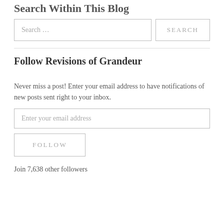Search Within This Blog
Search …
SEARCH
Follow Revisions of Grandeur
Never miss a post! Enter your email address to have notifications of new posts sent right to your inbox.
Enter your email address
FOLLOW
Join 7,638 other followers